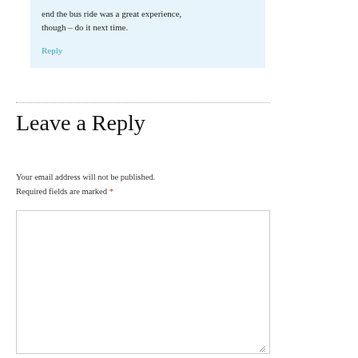end the bus ride was a great experience, though – do it next time.
Reply
Leave a Reply
Your email address will not be published. Required fields are marked *